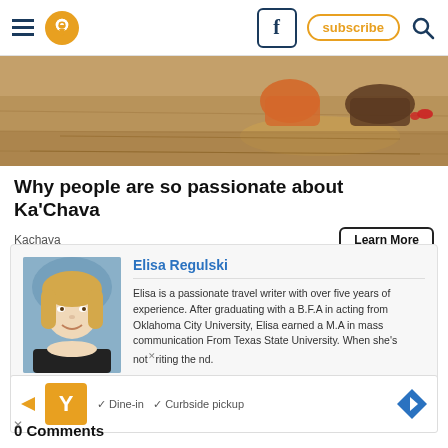Navigation header with hamburger menu, location icon, Facebook button, subscribe button, and search icon
[Figure (photo): Close-up photo of feet/shoes on a wooden floor]
Why people are so passionate about Ka'Chava
Kachava
Learn More
Elisa Regulski
Elisa is a passionate travel writer with over five years of experience. After graduating with a B.F.A in acting from Oklahoma City University, Elisa earned a M.A in mass communication From Texas State University. When she's not writing the nd.
[Figure (advertisement): Ad banner with orange logo, Dine-in and Curbside pickup text, navigation arrow icon]
0 Comments